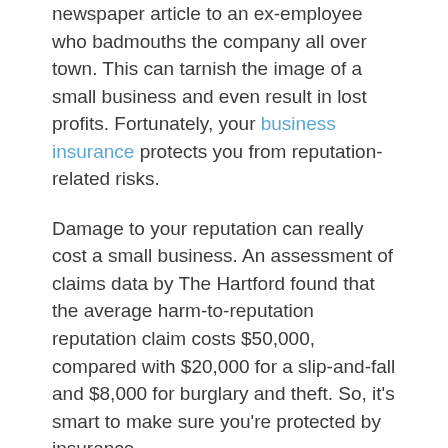newspaper article to an ex-employee who badmouths the company all over town. This can tarnish the image of a small business and even result in lost profits. Fortunately, your business insurance protects you from reputation-related risks.
Damage to your reputation can really cost a small business. An assessment of claims data by The Hartford found that the average harm-to-reputation reputation claim costs $50,000, compared with $20,000 for a slip-and-fall and $8,000 for burglary and theft. So, it’s smart to make sure you’re protected by insurance.
In some scenarios, a reputation harm fight can lead to a costly court battle. Consider the case of a Teaneck, N.J. event planner: